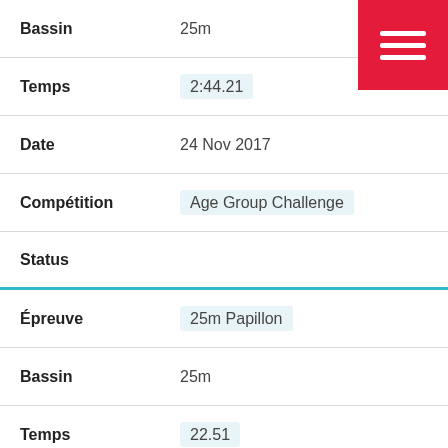Bassin: 25m
Temps: 2:44.21
Date: 24 Nov 2017
Compétition: Age Group Challenge
Status
Épreuve: 25m Papillon
Bassin: 25m
Temps: 22.51
Date: 15 Mar 2015